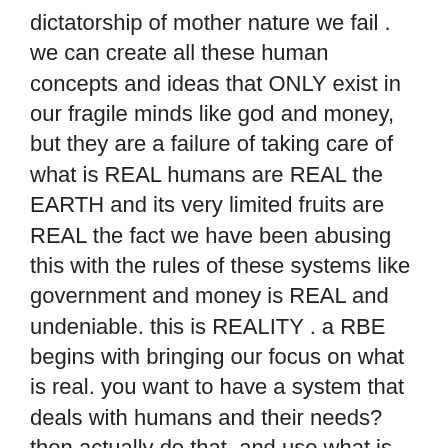dictatorship of mother nature we fail . we can create all these human concepts and ideas that ONLY exist in our fragile minds like god and money, but they are a failure of taking care of what is REAL humans are REAL the EARTH and its very limited fruits are REAL the fact we have been abusing this with the rules of these systems like government and money is REAL and undeniable. this is REALITY . a RBE begins with bringing our focus on what is real. you want to have a system that deals with humans and their needs? then actually do that. and use what is so well tested and understood it cannot fail whenever possible we are not even 1 percent of the way doing this with money and government because they are mental constructs of domination and power . not meeting humanity and the planets needs for the long term. now coming to TVP they are advocating a RBE exactly the same. also jacque has come up with blueprints and designs and inventions and extras which provide an idea in these